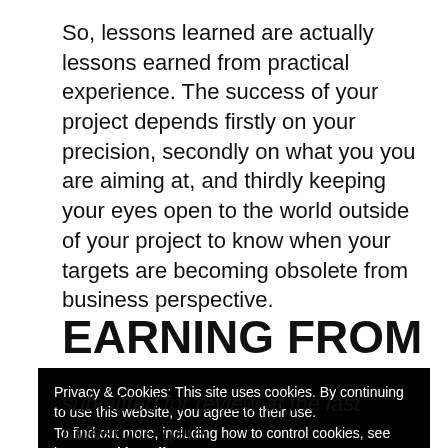So, lessons learned are actually lessons earned from practical experience. The success of your project depends firstly on your precision, secondly on what you you are aiming at, and thirdly keeping your eyes open to the world outside of your project to know when your targets are becoming obsolete from business perspective.
EARNING FROM YOUR
Privacy & Cookies: This site uses cookies. By continuing to use this website, you agree to their use.
To find out more, including how to control cookies, see here: Cookie Policy
Got it!
submitted for review at the last milestone gate